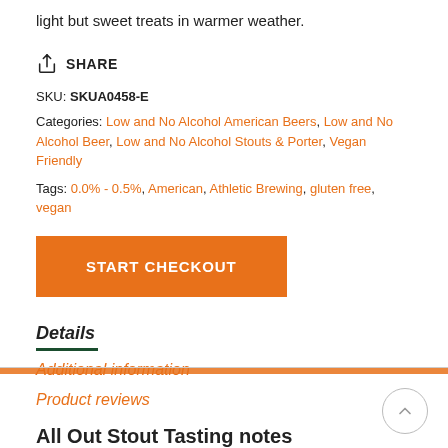light but sweet treats in warmer weather.
SHARE
SKU: SKUA0458-E
Categories: Low and No Alcohol American Beers, Low and No Alcohol Beer, Low and No Alcohol Stouts & Porter, Vegan Friendly
Tags: 0.0% - 0.5%, American, Athletic Brewing, gluten free, vegan
START CHECKOUT
Details
Additional information
Product reviews
Nutritional Information
All Out Stout Tasting notes